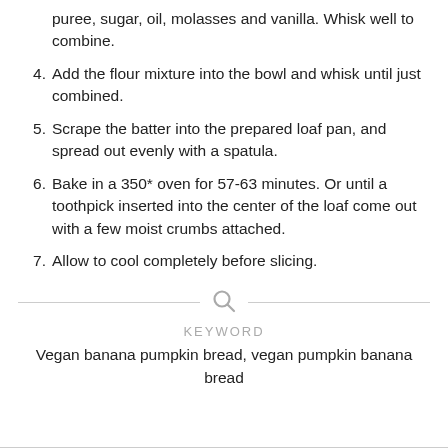puree, sugar, oil, molasses and vanilla. Whisk well to combine.
4. Add the flour mixture into the bowl and whisk until just combined.
5. Scrape the batter into the prepared loaf pan, and spread out evenly with a spatula.
6. Bake in a 350* oven for 57-63 minutes. Or until a toothpick inserted into the center of the loaf come out with a few moist crumbs attached.
7. Allow to cool completely before slicing.
KEYWORD
Vegan banana pumpkin bread, vegan pumpkin banana bread